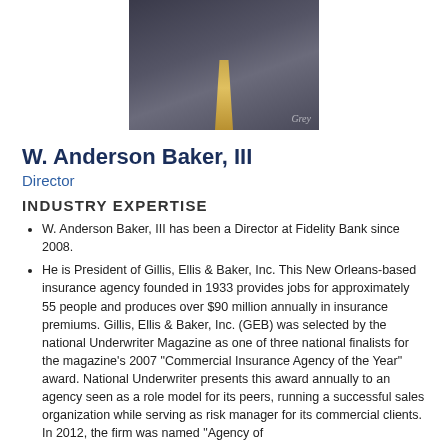[Figure (photo): Portrait photo of W. Anderson Baker III in a dark suit with a gold patterned tie, watermark text 'Grey' in bottom right corner]
W. Anderson Baker, III
Director
INDUSTRY EXPERTISE
W. Anderson Baker, III has been a Director at Fidelity Bank since 2008.
He is President of Gillis, Ellis & Baker, Inc. This New Orleans-based insurance agency founded in 1933 provides jobs for approximately 55 people and produces over $90 million annually in insurance premiums. Gillis, Ellis & Baker, Inc. (GEB) was selected by the national Underwriter Magazine as one of three national finalists for the magazine's 2007 "Commercial Insurance Agency of the Year" award. National Underwriter presents this award annually to an agency seen as a role model for its peers, running a successful sales organization while serving as risk manager for its commercial clients. In 2012, the firm was named "Agency of